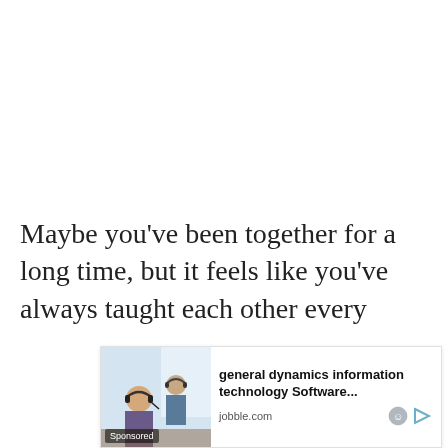Maybe you've been together for a long time, but it feels like you've always taught each other every...
[Figure (photo): Sponsored advertisement overlay showing people in an office with headsets; ad for general dynamics information technology Software... on jobble.com]